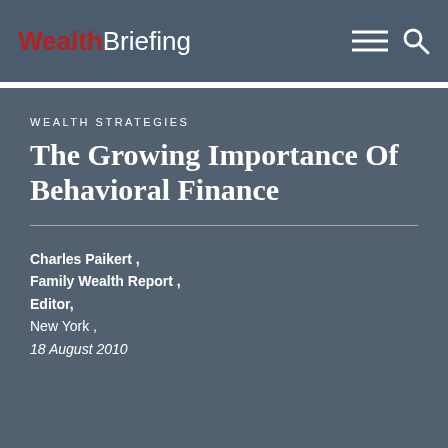WealthBriefing
WEALTH STRATEGIES
The Growing Importance Of Behavioral Finance
Charles Paikert , Family Wealth Report , Editor, New York , 18 August 2010